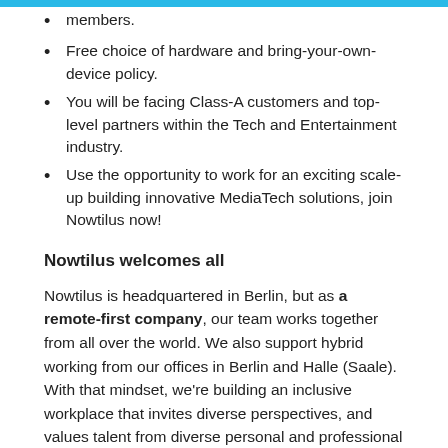members.
Free choice of hardware and bring-your-own-device policy.
You will be facing Class-A customers and top-level partners within the Tech and Entertainment industry.
Use the opportunity to work for an exciting scale-up building innovative MediaTech solutions, join Nowtilus now!
Nowtilus welcomes all
Nowtilus is headquartered in Berlin, but as a remote-first company, our team works together from all over the world. We also support hybrid working from our offices in Berlin and Halle (Saale). With that mindset, we're building an inclusive workplace that invites diverse perspectives, and values talent from diverse personal and professional backgrounds. Curious to see what it's like to work at Nowtilus? Find out more about how we operate as an